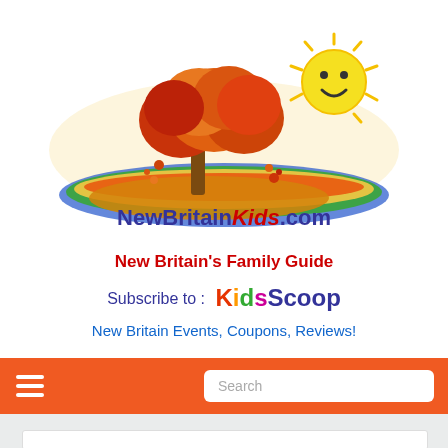[Figure (logo): NewBritainKids.com logo with autumn tree, colorful landscape, smiley sun, and text 'NewBritainKids.com']
New Britain's Family Guide
Subscribe to : KidsScoop
New Britain Events, Coupons, Reviews!
[Figure (screenshot): Orange navigation bar with hamburger menu icon and search input field]